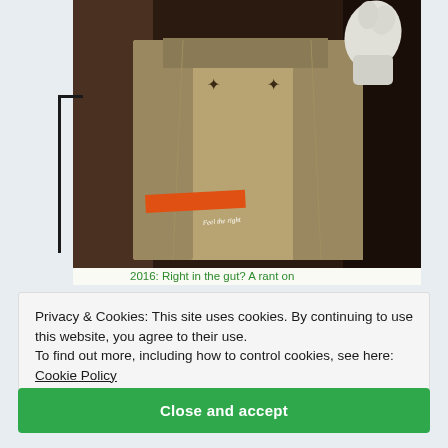[Figure (photo): Photo of a coffee bag or similar product packaging held by gloved hands, with orange stripe and cursive text on the bag, against a dark background]
2016: Right in the gut? A rant on
Privacy & Cookies: This site uses cookies. By continuing to use this website, you agree to their use.
To find out more, including how to control cookies, see here: Cookie Policy
Close and accept